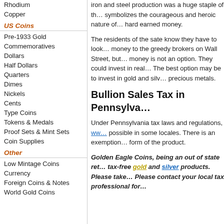Rhodium
Copper
US Coins
Pre-1933 Gold
Commemoratives
Dollars
Half Dollars
Quarters
Dimes
Nickels
Cents
Type Coins
Tokens & Medals
Proof Sets & Mint Sets
Coin Supplies
Other
Low Mintage Coins
Currency
Foreign Coins & Notes
World Gold Coins
iron and steel production was a huge staple of th… symbolizes the courageous and heroic nature of… hard earned money.
The residents of the sate know they have to look… money to the greedy brokers on Wall Street, but… money is not an option. They could invest in real… The best option may be to invest in gold and silv… precious metals.
Bullion Sales Tax in Pennsylva…
Under Pennsylvania tax laws and regulations, ww… possible in some locales. There is an exemption… form of the product.
Golden Eagle Coins, being an out of state ret… tax-free gold and silver products. Please take… Please contact your local tax professional for…